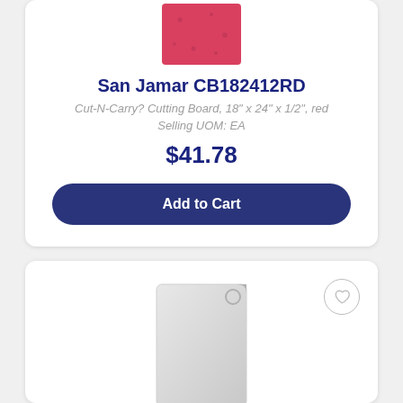[Figure (photo): Red cutting board product image (partial, top portion visible)]
San Jamar CB182412RD
Cut-N-Carry? Cutting Board, 18" x 24" x 1/2", red
Selling UOM: EA
$41.78
Add to Cart
[Figure (photo): White/clear cutting board product image (second product card, partial view)]